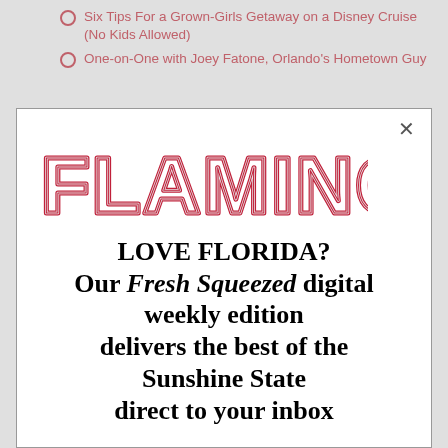Six Tips For a Grown-Girls Getaway on a Disney Cruise (No Kids Allowed)
One-on-One with Joey Fatone, Orlando's Hometown Guy
[Figure (logo): FLAMINGO magazine logo in red/crimson with double-outline retro lettering]
LOVE FLORIDA? Our Fresh Squeezed digital weekly edition delivers the best of the Sunshine State direct to your inbox